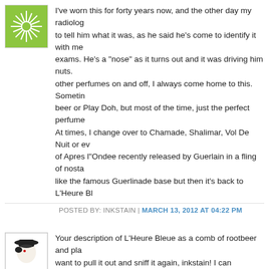I've worn this for forty years now, and the other day my radiolog... to tell him what it was, as he said he's come to identify it with me... exams. He's a "nose" as it turns out and it was driving him nuts... other perfumes on and off, I always come home to this. Sometim... beer or Play Doh, but most of the time, just the perfect perfume... At times, I change over to Chamade, Shalimar, Vol De Nuit or ev... of Apres l"Ondee recently released by Guerlain in a fling of nost... like the famous Guerlinade base but then it's back to L'Heure Bl...
POSTED BY: INKSTAIN | MARCH 13, 2012 AT 04:22 PM
Your description of L'Heure Bleue as a comb of rootbeer and pla... want to pull it out and sniff it again, inkstain! I can appreciate thi... melancholy for me to wear. Id love to smell it on someone for wh... 40 years without being sick of it; that's something else!
POSTED BY: PERFUMANIAC | MARCH 14, 2012 AT 01:45 AM
The comments to this entry are closed.